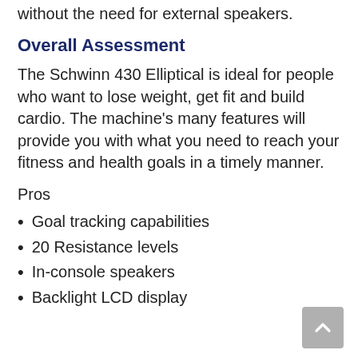display and enjoy your favorite tunes without the need for external speakers.
Overall Assessment
The Schwinn 430 Elliptical is ideal for people who want to lose weight, get fit and build cardio. The machine's many features will provide you with what you need to reach your fitness and health goals in a timely manner.
Pros
Goal tracking capabilities
20 Resistance levels
In-console speakers
Backlight LCD display